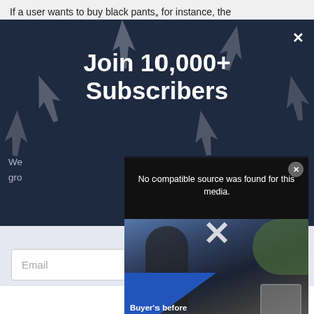If a user wants to buy black pants, for instance, the
[Figure (screenshot): Dark modal popup overlay with cursor/arrow icons on dark navy dotted background showing 'Join 10,000+ Subscribers' newsletter signup with an X close button, partially visible body text, and an email input field at bottom]
Join 10,000+ Subscribers
We... gro...
[Figure (screenshot): Embedded video player overlay showing error message 'No compatible source was found for this media.' with a large X icon, a photo of a person near a bicycle, and text 'Buyer's before has changed' with a close button]
No compatible source was found for this media.
Buyer's before has changed
Email